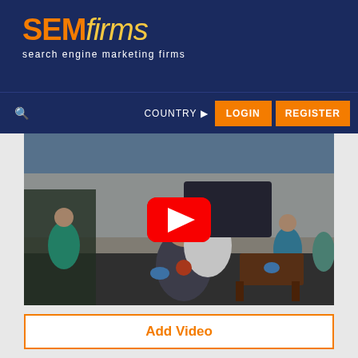SEMfirms - search engine marketing firms
[Figure (screenshot): Website header with SEMfirms logo (SEM in orange, firms in italic yellow) on dark navy background, with tagline 'search engine marketing firms' in white]
[Figure (photo): Navigation bar with search icon, COUNTRY dropdown, LOGIN and REGISTER orange buttons on navy background]
[Figure (photo): Video thumbnail showing people at an outdoor community event, with a YouTube-style red play button overlay in the center]
Add Video